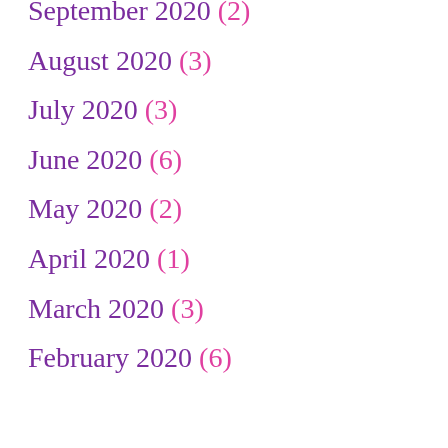September 2020 (2)
August 2020 (3)
July 2020 (3)
June 2020 (6)
May 2020 (2)
April 2020 (1)
March 2020 (3)
February 2020 (6)